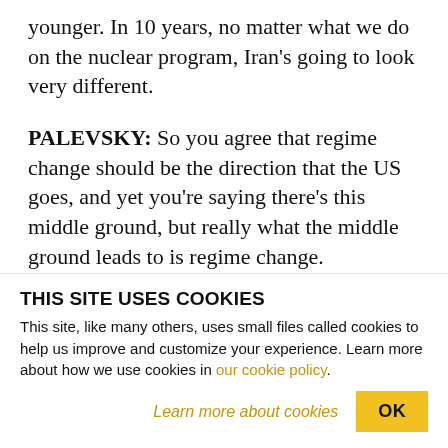younger. In 10 years, no matter what we do on the nuclear program, Iran's going to look very different.
PALEVSKY: So you agree that regime change should be the direction that the US goes, and yet you're saying there's this middle ground, but really what the middle ground leads to is regime change.
BERMAN: I think that the old saying that politics is the art of the possible is true. Do I think that a new regime that is shorn of corruption, that's more
THIS SITE USES COOKIES
This site, like many others, uses small files called cookies to help us improve and customize your experience. Learn more about how we use cookies in our cookie policy.
Learn more about cookies
OK